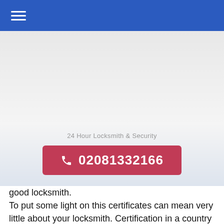☰ (navigation menu)
24 Hour Locksmith & Security
📞 02081332166
good locksmith.
To put some light on this certificates can mean very little about your locksmith. Certification in a country that has no legislation in the locksmithing industry can usually be bought for few hundred pounds a year as subscription, regardless of whether or not the locksmith is well trained, reliable or professional. There are many companies that